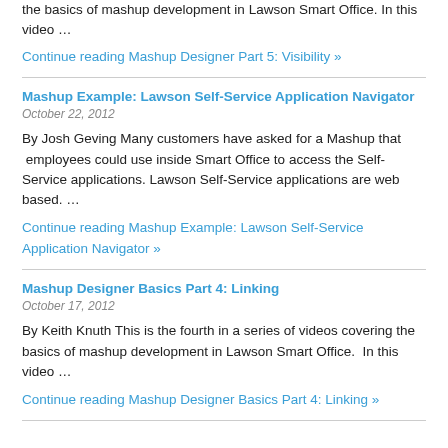the basics of mashup development in Lawson Smart Office. In this video …
Continue reading Mashup Designer Part 5: Visibility »
Mashup Example: Lawson Self-Service Application Navigator
October 22, 2012
By Josh Geving Many customers have asked for a Mashup that  employees could use inside Smart Office to access the Self-Service applications. Lawson Self-Service applications are web based. …
Continue reading Mashup Example: Lawson Self-Service Application Navigator »
Mashup Designer Basics Part 4: Linking
October 17, 2012
By Keith Knuth This is the fourth in a series of videos covering the basics of mashup development in Lawson Smart Office.  In this video …
Continue reading Mashup Designer Basics Part 4: Linking »